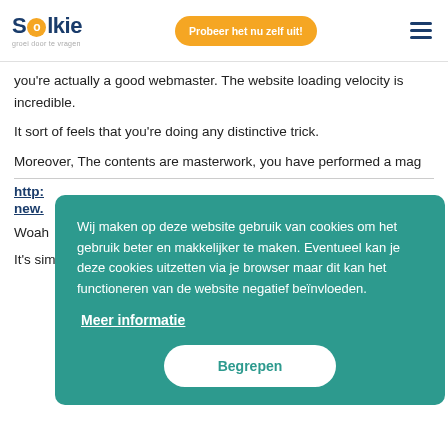[Figure (logo): Solkie logo with orange circle O and tagline 'groei door te vragen']
[Figure (other): Orange pill-shaped button: 'Probeer het nu zelf uit!']
[Figure (other): Hamburger menu icon (three horizontal lines)]
you're actually a good webmaster. The website loading velocity is incredible.
It sort of feels that you're doing any distinctive trick.
Moreover, The contents are masterwork, you have performed a mag
http:
new.
Woah
It's simple, yet effective. A lot of times it's hard to get that
[Figure (other): Cookie consent overlay with teal background. Text: 'Wij maken op deze website gebruik van cookies om het gebruik beter en makkelijker te maken. Eventueel kan je deze cookies uitzetten via je browser maar dit kan het functioneren van de website negatief beïnvloeden.' Link: 'Meer informatie'. Button: 'Begrepen']